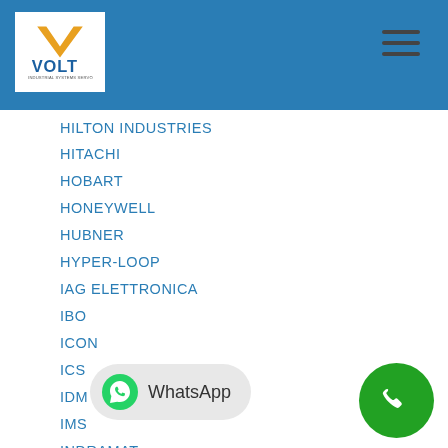[Figure (logo): VOLT Industrial Systems logo with orange V chevron and blue VOLT text]
HILTON INDUSTRIES
HITACHI
HOBART
HONEYWELL
HUBNER
HYPER-LOOP
IAG ELETTRONICA
IBO
ICON
ICS
IDM CONTROLS
IMS
INDRAMAT
INDUCTOHEAT
INDUR
INDUSTRIAL DEVICES
INDUSTRIAL DRIVES
INDUSTRI...
INET
INEX